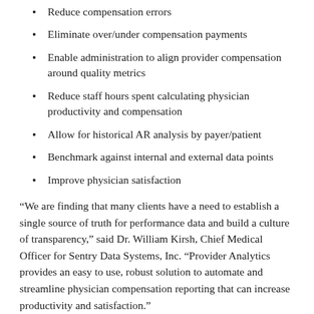Reduce compensation errors
Eliminate over/under compensation payments
Enable administration to align provider compensation around quality metrics
Reduce staff hours spent calculating physician productivity and compensation
Allow for historical AR analysis by payer/patient
Benchmark against internal and external data points
Improve physician satisfaction
“We are finding that many clients have a need to establish a single source of truth for performance data and build a culture of transparency,” said Dr. William Kirsh, Chief Medical Officer for Sentry Data Systems, Inc. “Provider Analytics provides an easy to use, robust solution to automate and streamline physician compensation reporting that can increase productivity and satisfaction.”
Special features of the module include:
A short partial list item beginning (cut off)